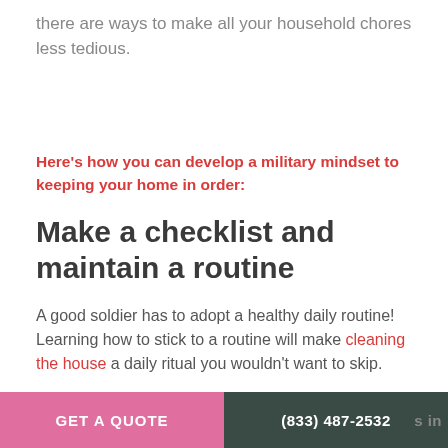there are ways to make all your household chores less tedious.
Here's how you can develop a military mindset to keeping your home in order:
Make a checklist and maintain a routine
A good soldier has to adopt a healthy daily routine! Learning how to stick to a routine will make cleaning the house a daily ritual you wouldn't want to skip.
GET A QUOTE   (833) 487-2532